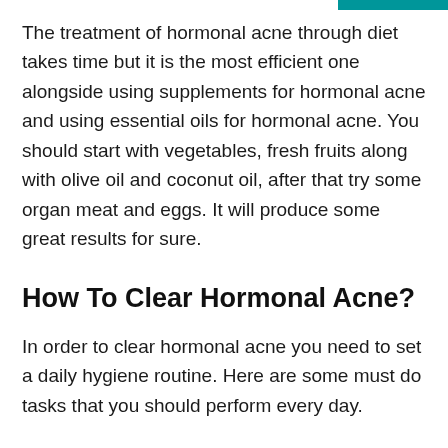The treatment of hormonal acne through diet takes time but it is the most efficient one alongside using supplements for hormonal acne and using essential oils for hormonal acne. You should start with vegetables, fresh fruits along with olive oil and coconut oil, after that try some organ meat and eggs. It will produce some great results for sure.
How To Clear Hormonal Acne?
In order to clear hormonal acne you need to set a daily hygiene routine. Here are some must do tasks that you should perform every day.